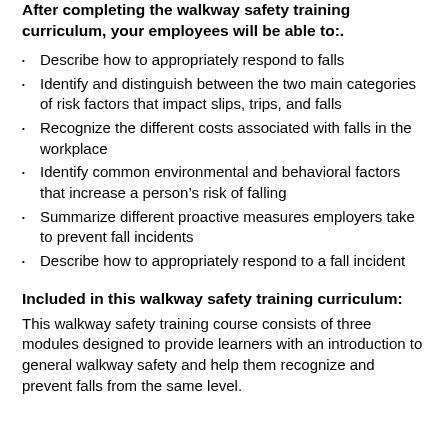After completing the walkway safety training curriculum, your employees will be able to:.
Describe how to appropriately respond to falls
Identify and distinguish between the two main categories of risk factors that impact slips, trips, and falls
Recognize the different costs associated with falls in the workplace
Identify common environmental and behavioral factors that increase a person's risk of falling
Summarize different proactive measures employers take to prevent fall incidents
Describe how to appropriately respond to a fall incident
Included in this walkway safety training curriculum:
This walkway safety training course consists of three modules designed to provide learners with an introduction to general walkway safety and help them recognize and prevent falls from the same level.